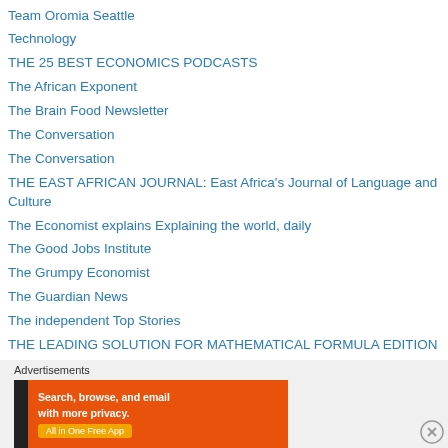Team Oromia Seattle
Technology
THE 25 BEST ECONOMICS PODCASTS
The African Exponent
The Brain Food Newsletter
The Conversation
The Conversation
THE EAST AFRICAN JOURNAL: East Africa's Journal of Language and Culture
The Economist explains Explaining the world, daily
The Good Jobs Institute
The Grumpy Economist
The Guardian News
The independent Top Stories
THE LEADING SOLUTION FOR MATHEMATICAL FORMULA EDITION
THE MEANING OF RELATIVITY
The Networks of Oromo Studies
Advertisements
[Figure (infographic): DuckDuckGo advertisement banner: 'Search, browse, and email with more privacy. All in One Free App' on orange background with DuckDuckGo logo on dark background]